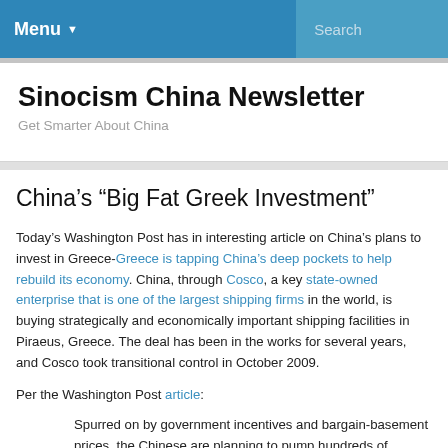Menu  Search
Sinocism China Newsletter
Get Smarter About China
China's “Big Fat Greek Investment”
Today’s Washington Post has in interesting article on China’s plans to invest in Greece-Greece is tapping China’s deep pockets to help rebuild its economy. China, through Cosco, a key state-owned enterprise that is one of the largest shipping firms in the world, is buying strategically and economically important shipping facilities in Piraeus, Greece. The deal has been in the works for several years, and Cosco took transitional control in October 2009.
Per the Washington Post article:
Spurred on by government incentives and bargain-basement prices, the Chinese are planning to pump hundreds of millions —